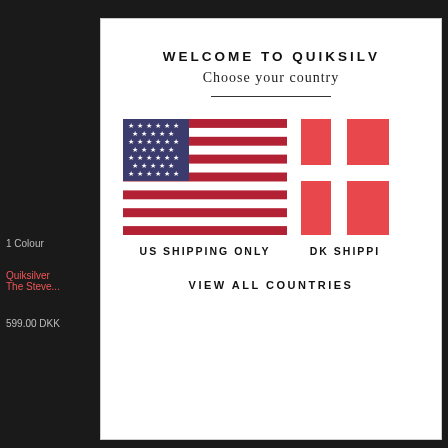WELCOME TO QUIKSILVR
Choose your country
[Figure (illustration): US flag (stars and stripes) and partial Danish flag side by side, with labels 'US SHIPPING ONLY' and 'DK SHIPPI...' below each respectively]
VIEW ALL COUNTRIES